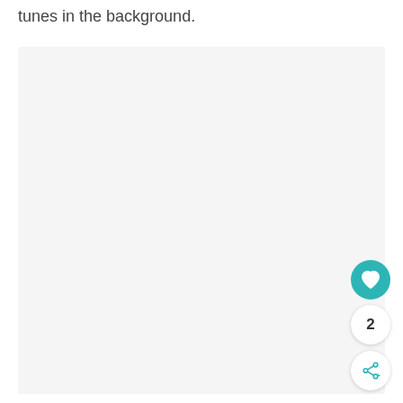tunes in the background.
[Figure (other): Large light gray rectangular placeholder image area]
[Figure (other): Teal circular heart/like button (FAB), a count badge showing '2', and a share button with share icon]